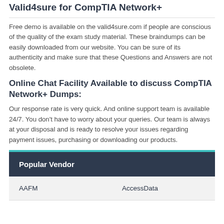Valid4sure for CompTIA Network+
Free demo is available on the valid4sure.com if people are conscious of the quality of the exam study material. These braindumps can be easily downloaded from our website. You can be sure of its authenticity and make sure that these Questions and Answers are not obsolete.
Online Chat Facility Available to discuss CompTIA Network+ Dumps:
Our response rate is very quick. And online support team is available 24/7. You don't have to worry about your queries. Our team is always at your disposal and is ready to resolve your issues regarding payment issues, purchasing or downloading our products.
| Popular Vendor |  |
| --- | --- |
| AAFM | AccessData |